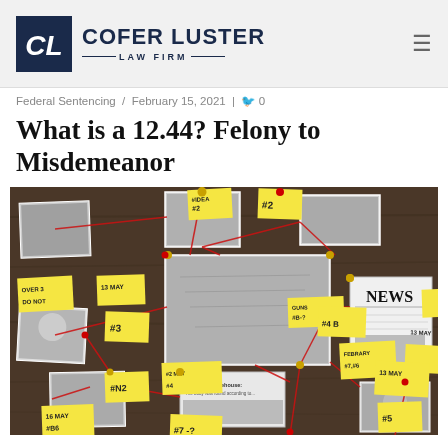Cofer Luster Law Firm
Federal Sentencing / February 15, 2021 | 0
What is a 12.44? Felony to Misdemeanor
[Figure (photo): A detective's crime investigation board with photos, yellow sticky notes with handwritten notes and numbers, red string connecting elements, and newspaper clippings pinned to a dark wooden board.]